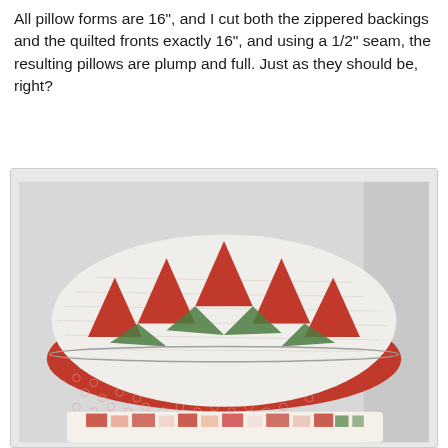All pillow forms are 16", and I cut both the zippered backings and the quilted fronts exactly 16", and using a 1/2" seam, the resulting pillows are plump and full. Just as they should be, right?
[Figure (photo): A photograph of two stacked quilted pillows. The top pillow has a white quilted front with red and green triangle/pinwheel pattern and a red patterned fabric backing with small circle/ring motifs. A second pillow is partially visible underneath with a red and white patchwork design.]